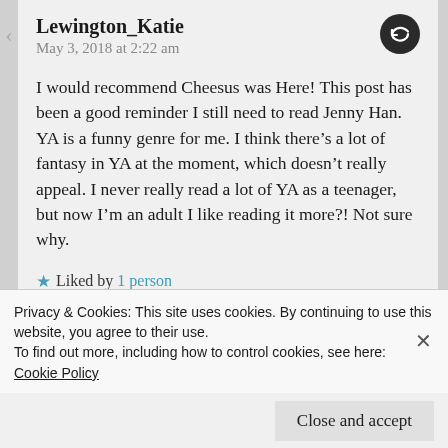Lewington_Katie
May 3, 2018 at 2:22 am
I would recommend Cheesus was Here! This post has been a good reminder I still need to read Jenny Han. YA is a funny genre for me. I think there’s a lot of fantasy in YA at the moment, which doesn’t really appeal. I never really read a lot of YA as a teenager, but now I’m an adult I like reading it more?! Not sure why.
★ Liked by 1 person
Privacy & Cookies: This site uses cookies. By continuing to use this website, you agree to their use.
To find out more, including how to control cookies, see here: Cookie Policy
Close and accept